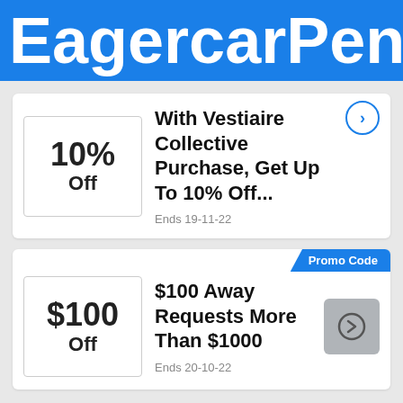EagercarPent
10% Off
With Vestiaire Collective Purchase, Get Up To 10% Off...
Ends 19-11-22
Promo Code
$100 Off
$100 Away Requests More Than $1000
Ends 20-10-22